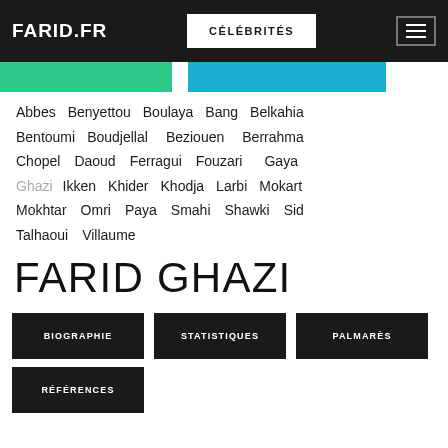FARID.FR | CÉLÉBRITÉS
Abbes Benyettou Boulaya Bang Belkahia Bentoumi Boudjellal Beziouen Berrahma Chopel Daoud Ferragui Fouzari Gaya Ghazi Ikken Khider Khodja Larbi Mokart Mokhtar Omri Paya Smahi Shawki Sid Talhaoui Villaume
FARID GHAZI
BIOGRAPHIE
STATISTIQUES
PALMARÈS
RÉFÉRENCES